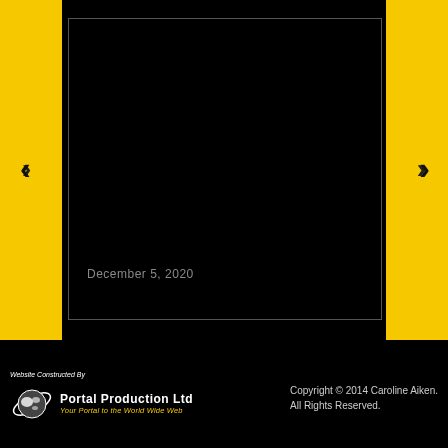[Figure (screenshot): Black image viewer area with date caption 'December 5, 2020' at bottom left, flanked by yellow navigation sidebars with left and right chevron arrows]
December 5, 2020
Website Constructed By Portal Production Ltd Your Portal to the World Wide Web | Copyright © 2014 Caroline Aiken. All Rights Reserved.